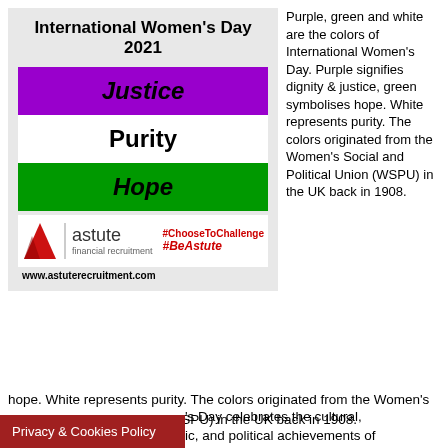[Figure (infographic): International Women's Day 2021 infographic by Astute Financial Recruitment showing three colored bars: purple (Justice), white (Purity), green (Hope), with logo and hashtags #ChooseToChallenge and #BeAstute]
Purple, green and white are the colors of International Women's Day. Purple signifies dignity & justice, green symbolises hope. White represents purity. The colors originated from the Women's Social and Political Union (WSPU) in the UK back in 1908.
International Women's Day celebrates the cultural, ic, and political achievements of